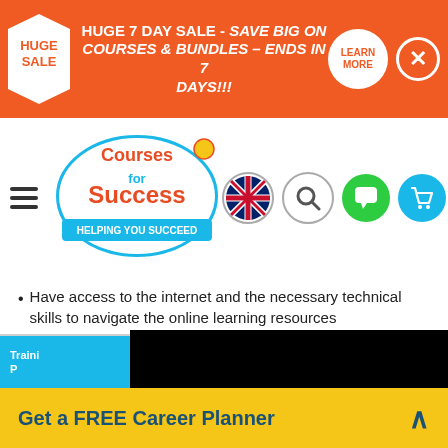[Figure (screenshot): Orange sale banner with HUGE SALE badge, text 'HUGE 7 DAY SALE - SAVE BIG ON COURSES & BUNDLES – ENDS IN 7 DAYS!!!', LEARN MORE button, and close X button]
[Figure (logo): Courses for Success logo - circular badge with 'Courses for Success' text and 'HELPING YOU SUCCEED' tagline]
[Figure (screenshot): Navigation icons: UK flag, search magnifier, green chat bubble, blue shopping cart]
Have access to the internet and the necessary technical skills to navigate the online learning resources
[Figure (screenshot): Black loading overlay with spinner and 'loading' text]
Quic
Re
Traini P
Get a FREE Career Planner